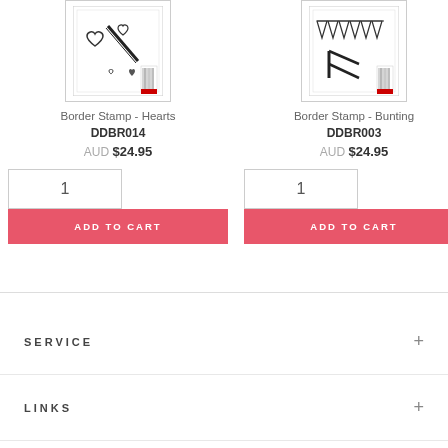[Figure (illustration): Border Stamp - Hearts product image showing stamp set with heart drawings]
[Figure (illustration): Border Stamp - Bunting product image showing stamp set with bunting/pennant flags]
Border Stamp - Hearts
Border Stamp - Bunting
DDBR014
DDBR003
AUD $24.95
AUD $24.95
1
ADD TO CART
1
ADD TO CART
SERVICE
LINKS